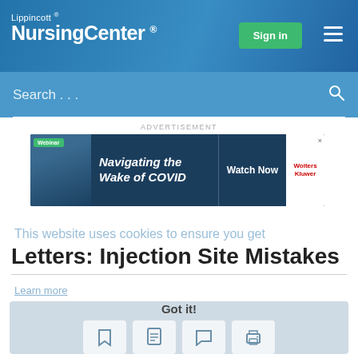Lippincott® NursingCenter®
Search...
ADVERTISEMENT
[Figure (screenshot): Advertisement banner: Webinar - Navigating the Wake of COVID - Watch Now - Wolters Kluwer]
This website uses cookies to ensure you get the best experience on our website.
Letters: Injection Site Mistakes
Learn more
Got it!